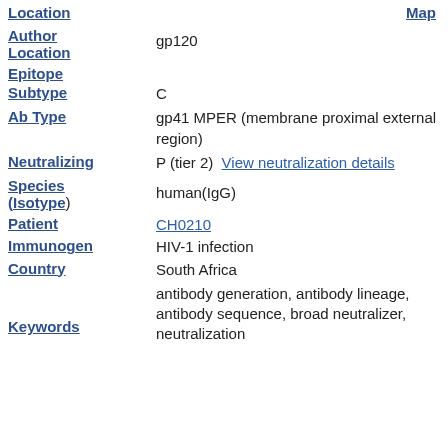Location | Map
Author Location: gp120
Epitope
Subtype: C
Ab Type: gp41 MPER (membrane proximal external region)
Neutralizing: P (tier 2) View neutralization details
Species (Isotype): human(IgG)
Patient: CH0210
Immunogen: HIV-1 infection
Country: South Africa
Keywords: antibody generation, antibody lineage, antibody sequence, broad neutralizer, neutralization